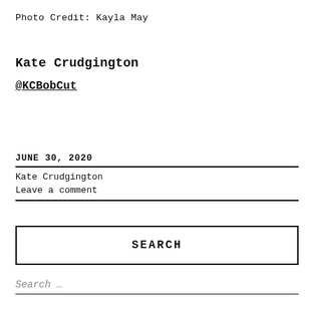Photo Credit: Kayla May
Kate Crudgington
@KCBobCut
JUNE 30, 2020
Kate Crudgington
Leave a comment
SEARCH
Search …